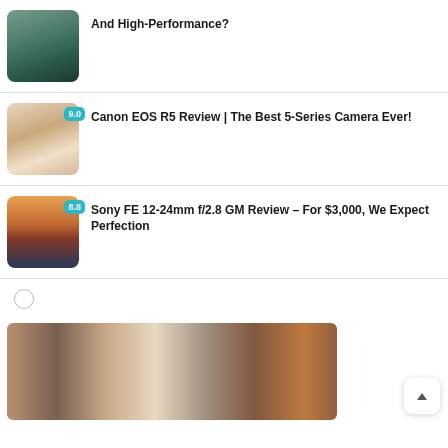And High-Performance?
Canon EOS R5 Review | The Best 5-Series Camera Ever!
Sony FE 12-24mm f/2.8 GM Review – For $3,000, We Expect Perfection
[Figure (photo): Large photo showing a woman with camera equipment at a desert location with industrial structures]
[Figure (illustration): Back to top button arrow]